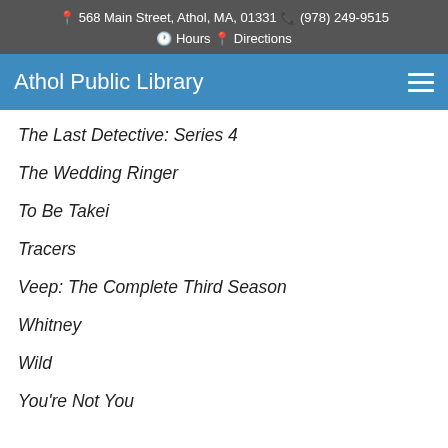568 Main Street, Athol, MA, 01331  (978) 249-9515  Hours  Directions
Athol Public Library
The Last Detective: Series 4
The Wedding Ringer
To Be Takei
Tracers
Veep: The Complete Third Season
Whitney
Wild
You're Not You